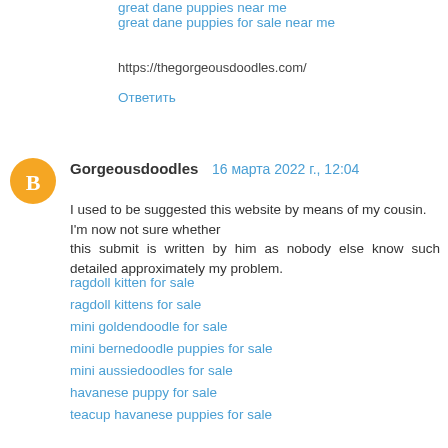great dane puppies for sale near me
https://thegorgeousdoodles.com/
Ответить
Gorgeousdoodles  16 марта 2022 г., 12:04
I used to be suggested this website by means of my cousin. I'm now not sure whether this submit is written by him as nobody else know such detailed approximately my problem.
ragdoll kitten for sale
ragdoll kittens for sale
mini goldendoodle for sale
mini bernedoodle puppies for sale
mini aussiedoodles for sale
havanese puppy for sale
teacup havanese puppies for sale
havanese puppies for sale near me
havanese puppies for sale under $1,000
havanese puppy for sale